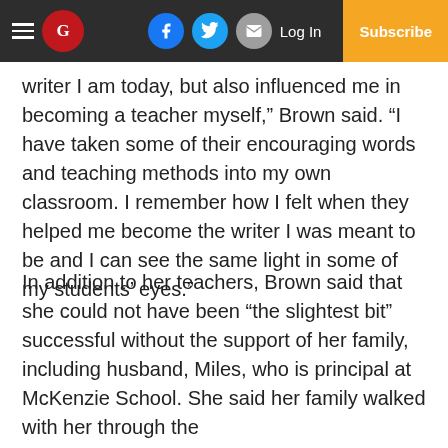Navigation bar with hamburger menu, The Guardian logo, Facebook, Twitter, Email icons, Log In, Subscribe
writer I am today, but also influenced me in becoming a teacher myself,” Brown said. “I have taken some of their encouraging words and teaching methods into my own classroom. I remember how I felt when they helped me become the writer I was meant to be and I can see the same light in some of my students’ eyes.”
In addition to her teachers, Brown said that she could not have been “the slightest bit” successful without the support of her family, including husband, Miles, who is principal at McKenzie School. She said her family walked with her through the